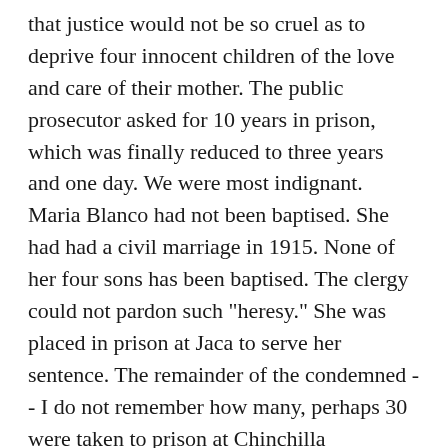that justice would not be so cruel as to deprive four innocent children of the love and care of their mother. The public prosecutor asked for 10 years in prison, which was finally reduced to three years and one day. We were most indignant. Maria Blanco had not been baptised. She had had a civil marriage in 1915. None of her four sons has been baptised. The clergy could not pardon such "heresy." She was placed in prison at Jaca to serve her sentence. The remainder of the condemned -- I do not remember how many, perhaps 30 were taken to prison at Chinchilla (Albacete) for their sentences. Those who attacked the regime were given ten year sentences and those who tried to destroy the Saganta Bridge were given twenty-four year sentences.

While we were in jail at Jaca the majority of the people